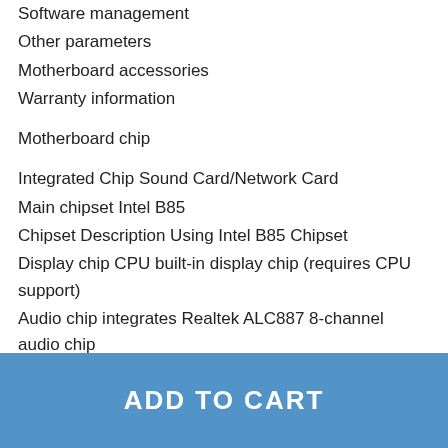Software management
Other parameters
Motherboard accessories
Warranty information
Motherboard chip
Integrated Chip Sound Card/Network Card
Main chipset Intel B85
Chipset Description Using Intel B85 Chipset
Display chip CPU built-in display chip (requires CPU support)
Audio chip integrates Realtek ALC887 8-channel audio chip
NIC Chip Onboard Realtek Gigabit LAN Card
Processor specification
CPU Type Core i7/i5/i3/Pentium/Celeron
CPU socket LGA 1150
CPU Description Support Intel 22nm processor
Memory specification
ADD TO CART